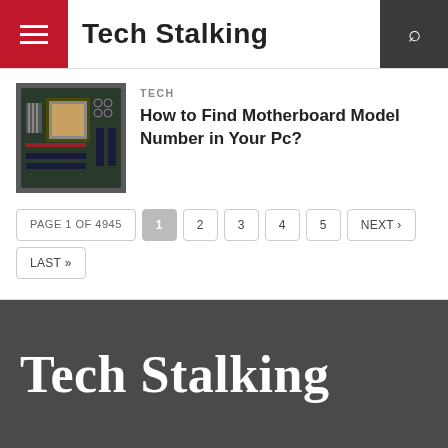Tech Stalking
TECH
How to Find Motherboard Model Number in Your Pc?
[Figure (photo): Close-up photo of a computer motherboard with CPU socket and components visible]
PAGE 1 OF 4945  1  2  3  4  5  NEXT ›  LAST »
Tech Stalking